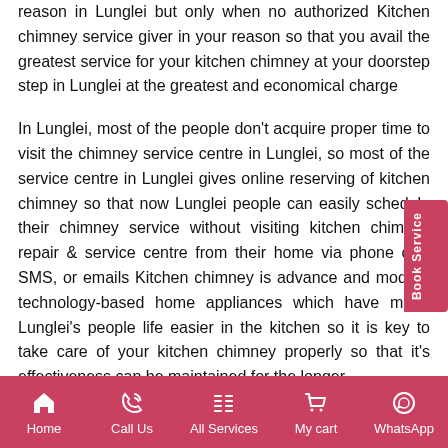reason in Lunglei but only when no authorized Kitchen chimney service giver in your reason so that you avail the greatest service for your kitchen chimney at your doorstep step in Lunglei at the greatest and economical charge
In Lunglei, most of the people don't acquire proper time to visit the chimney service centre in Lunglei, so most of the service centre in Lunglei gives online reserving of kitchen chimney so that now Lunglei people can easily schedule their chimney service without visiting kitchen chimney repair & service centre from their home via phone call, SMS, or emails Kitchen chimney is advance and modern technology-based home appliances which have made Lunglei's people life easier in the kitchen so it is key to take care of your kitchen chimney properly so that it's effectiveness can be maintained for the longer
Home | Call Us | All Services | My cart | WhatsApp